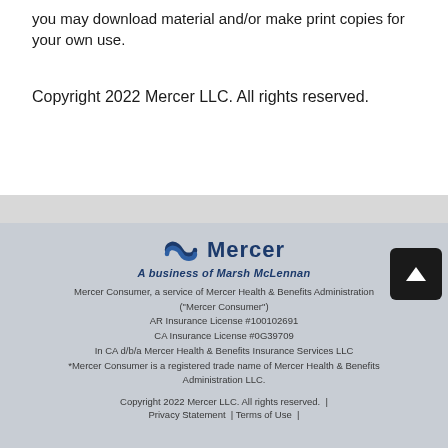you may download material and/or make print copies for your own use.
Copyright 2022 Mercer LLC. All rights reserved.
Mercer logo — A business of Marsh McLennan
Mercer Consumer, a service of Mercer Health & Benefits Administration ("Mercer Consumer")
AR Insurance License #100102691
CA Insurance License #0G39709
In CA d/b/a Mercer Health & Benefits Insurance Services LLC
*Mercer Consumer is a registered trade name of Mercer Health & Benefits Administration LLC.
Copyright 2022 Mercer LLC. All rights reserved.  |
Privacy Statement  | Terms of Use  |